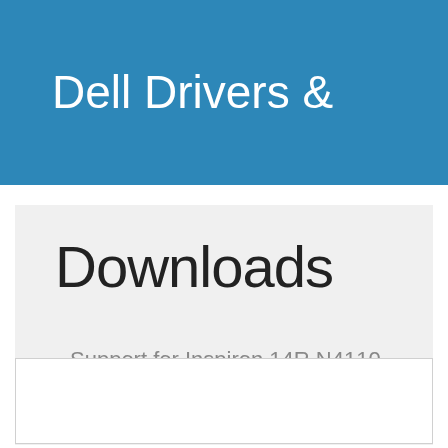Dell Drivers &
Downloads
Support for Inspiron 14R N4110